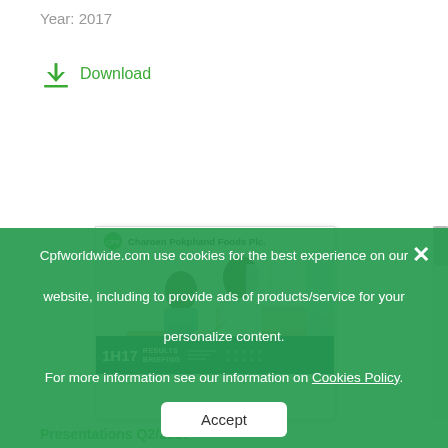Year: 2017
Download
[Figure (screenshot): Thumbnail of Charoen Pokphand Foods Plc. 1H17 Results Briefing presentation document with a photo of a mother feeding a child]
Presentations Q2/2017
Year: 2017
Download
Cpfworldwide.com use cookies for the best experience on our website, including to provide ads of products/service for your personalize content. For more information see our information on Cookies Policy.
Accept